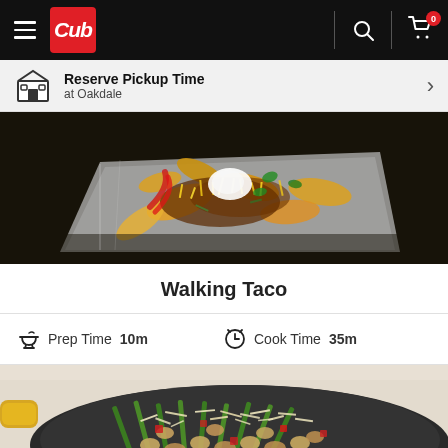Cub — navigation bar with hamburger menu, Cub logo, search icon, cart icon (0 items)
Reserve Pickup Time at Oakdale
[Figure (photo): Overhead photo of a walking taco — nachos with toppings including sour cream, shredded cheese, jalapeños, in a foil tray on a dark surface]
Walking Taco
Prep Time 10m   Cook Time 35m
[Figure (photo): Overhead photo of a skillet with gnocchi, asparagus, red peppers and shredded parmesan, in a black pan with yellow handles on a light background]